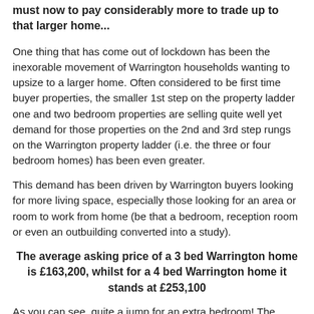must now to pay considerably more to trade up to that larger home...
One thing that has come out of lockdown has been the inexorable movement of Warrington households wanting to upsize to a larger home. Often considered to be first time buyer properties, the smaller 1st step on the property ladder one and two bedroom properties are selling quite well yet demand for those properties on the 2nd and 3rd step rungs on the Warrington property ladder (i.e. the three or four bedroom homes) has been even greater.
This demand has been driven by Warrington buyers looking for more living space, especially those looking for an area or room to work from home (be that a bedroom, reception room or even an outbuilding converted into a study).
The average asking price of a 3 bed Warrington home is £163,200, whilst for a 4 bed Warrington home it stands at £253,100
As you can see, quite a jump for an extra bedroom! The